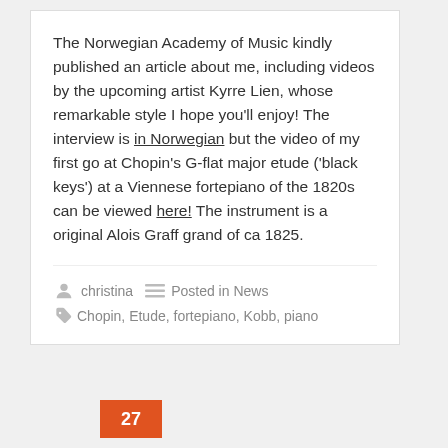The Norwegian Academy of Music kindly published an article about me, including videos by the upcoming artist Kyrre Lien, whose remarkable style I hope you'll enjoy! The interview is in Norwegian but the video of my first go at Chopin's G-flat major etude ('black keys') at a Viennese fortepiano of the 1820s can be viewed here! The instrument is a original Alois Graff grand of ca 1825.
christina   Posted in News   Chopin, Etude, fortepiano, Kobb, piano
27